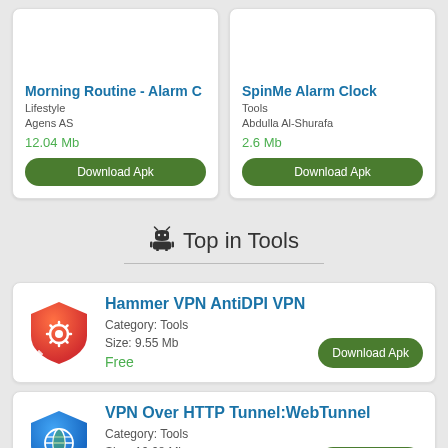Morning Routine - Alarm C
Lifestyle
AgENS AS
12.04 Mb
SpinMe Alarm Clock
Tools
Abdulla Al-Shurafa
2.6 Mb
🤖 Top in Tools
Hammer VPN AntiDPI VPN
Category: Tools
Size: 9.55 Mb
Free
VPN Over HTTP Tunnel:WebTunnel
Category: Tools
Size: 10.08 Mb
Free